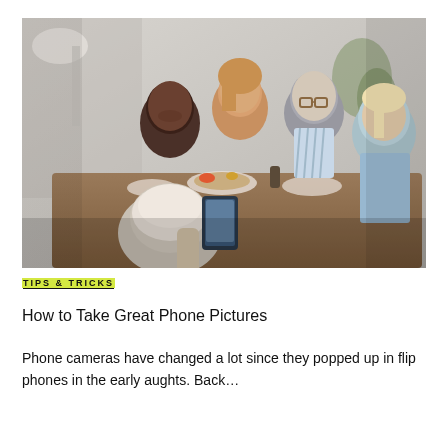[Figure (photo): Group of four adults around a dining table with food, one person taking a photo of the others with a smartphone. The person in the foreground has short white/grey hair and is seen from behind.]
TIPS & TRICKS
How to Take Great Phone Pictures
Phone cameras have changed a lot since they popped up in flip phones in the early aughts. Back…